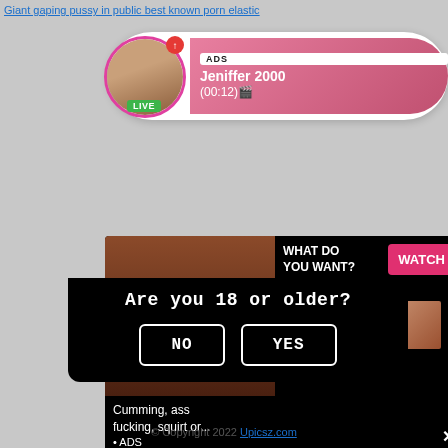Giant gaping pussy in public best known porn elastic
[Figure (screenshot): Live notification card showing profile photo with LIVE badge, ADS tag, name Jeniffer 2000, time (00:12), pink gradient bubble, close button]
[Figure (screenshot): Adult content popup with image on left, WHAT DO YOU WANT? text, WATCH button, Online indicator, thumbnail images, text 'Cumming, ass fucking, squirt or... • ADS', close X]
Are you 18 or older?
NO
YES
© Copyright 2022 Upicsz.com